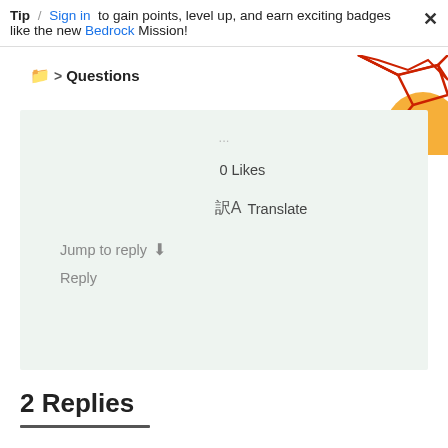Tip / Sign in to gain points, level up, and earn exciting badges like the new Bedrock Mission!
Questions
[Figure (illustration): Decorative geometric graphic with red polygon lines and orange circle shape in top right corner]
0 Likes
Translate
Jump to reply ↓
Reply
2 Replies